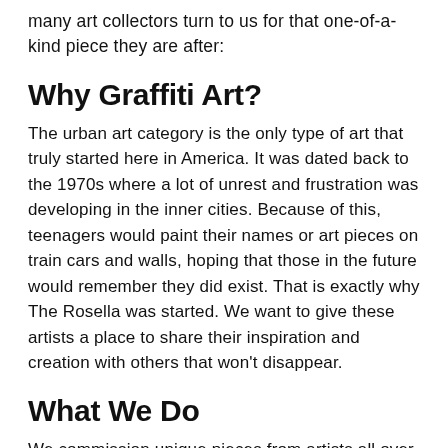many art collectors turn to us for that one-of-a-kind piece they are after:
Why Graffiti Art?
The urban art category is the only type of art that truly started here in America. It was dated back to the 1970s where a lot of unrest and frustration was developing in the inner cities. Because of this, teenagers would paint their names or art pieces on train cars and walls, hoping that those in the future would remember they did exist. That is exactly why The Rosella was started. We want to give these artists a place to share their inspiration and creation with others that won't disappear.
What We Do
We commission unique pieces from artists all over the country that create urban art. This may be in the form of a sculpture, painting, or other creation. We believe in